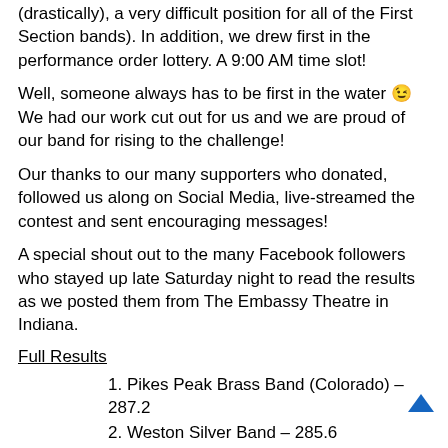(drastically), a very difficult position for all of the First Section bands). In addition, we drew first in the performance order lottery. A 9:00 AM time slot!
Well, someone always has to be first in the water 😉 We had our work cut out for us and we are proud of our band for rising to the challenge!
Our thanks to our many supporters who donated, followed us along on Social Media, live-streamed the contest and sent encouraging messages!
A special shout out to the many Facebook followers who stayed up late Saturday night to read the results as we posted them from The Embassy Theatre in Indiana.
Full Results
1. Pikes Peak Brass Band (Colorado) – 287.2
2. Weston Silver Band – 285.6
3. Dublin Silver Band (Ohio) – 284.6
4. Central Ohio Brass Band – 278.8
5. Five Lakes Silver Band (Michigan) – 277.0
6. Madison Brass Band (Wisconsin)– 275.0
7. Illinois Brass Band – 268.6
8. Motor City Brass Band (Detroit) – 268.0